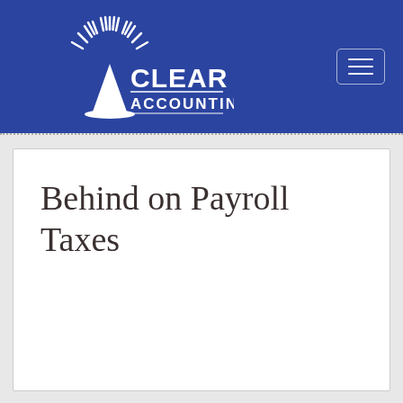[Figure (logo): Clear Accounting logo with white sunburst/lighthouse icon and text 'CLEAR ACCOUNTING' on a blue background header with hamburger menu icon]
Behind on Payroll Taxes